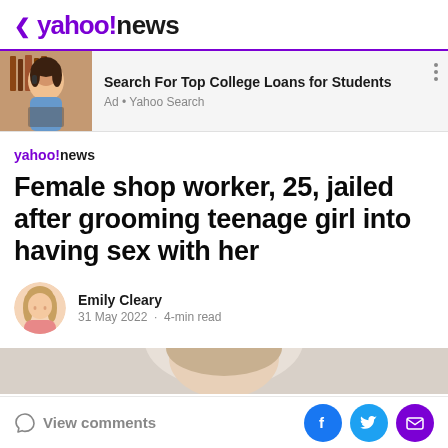< yahoo!news
[Figure (photo): Advertisement banner: photo of a young woman on the phone at a laptop in a library setting, with text 'Search For Top College Loans for Students' and 'Ad • Yahoo Search']
Search For Top College Loans for Students
Ad • Yahoo Search
[Figure (logo): yahoo!news small logo]
Female shop worker, 25, jailed after grooming teenage girl into having sex with her
Emily Cleary
31 May 2022 · 4-min read
[Figure (photo): Partial photo visible at bottom of article]
View comments